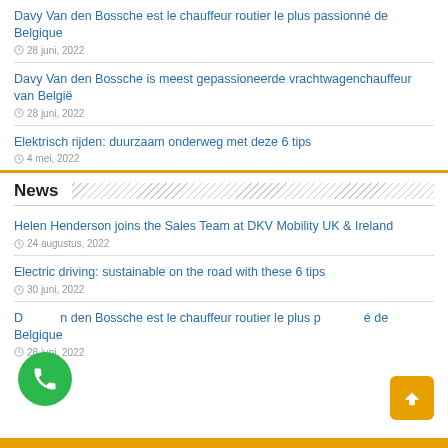Davy Van den Bossche est le chauffeur routier le plus passionné de Belgique
28 juni, 2022
Davy Van den Bossche is meest gepassioneerde vrachtwagenchauffeur van België
28 juni, 2022
Elektrisch rijden: duurzaam onderweg met deze 6 tips
4 mei, 2022
News
Helen Henderson joins the Sales Team at DKV Mobility UK & Ireland
24 augustus, 2022
Electric driving: sustainable on the road with these 6 tips
30 juni, 2022
Davy Van den Bossche est le chauffeur routier le plus passionné de Belgique
28 juni, 2022